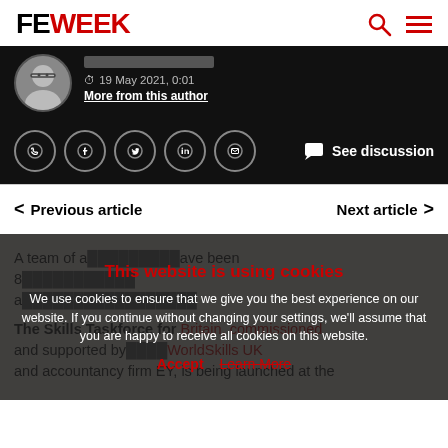FE WEEK
[Figure (photo): Author headshot - circular avatar of a man with glasses]
19 May 2021, 0:01
More from this author
[Figure (infographic): Social media sharing icons: WhatsApp, Facebook, Twitter, LinkedIn, Email, and See discussion button]
< Previous article    Next article >
A team of a...ave been 8... a...
The Skills Taskforce for Britain, commissioned and supported by... WorldSkills UK and accountancy firm EY, is being launched at the
This website is using cookies
We use cookies to ensure that we give you the best experience on our website. If you continue without changing your settings, we'll assume that you are happy to receive all cookies on this website.
Accept   Learn More